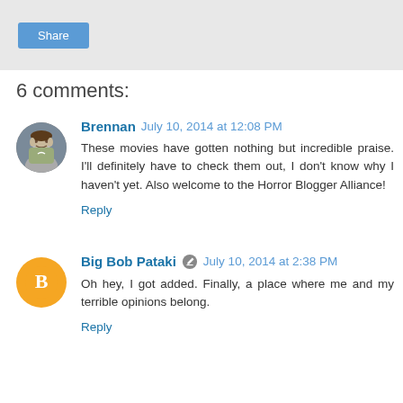[Figure (other): Share button on grey background]
6 comments:
Brennan  July 10, 2014 at 12:08 PM
These movies have gotten nothing but incredible praise. I'll definitely have to check them out, I don't know why I haven't yet. Also welcome to the Horror Blogger Alliance!
Reply
Big Bob Pataki  July 10, 2014 at 2:38 PM
Oh hey, I got added. Finally, a place where me and my terrible opinions belong.
Reply